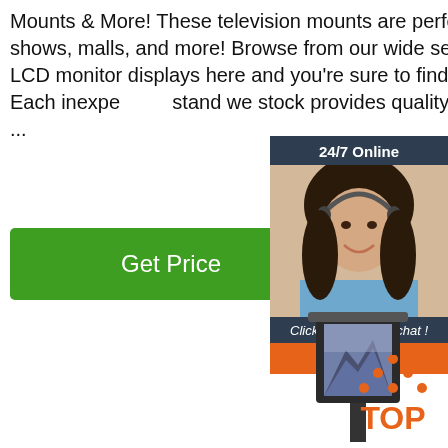Mounts & More! These television mounts are perfect for retail stores, trade shows, malls, and more! Browse from our wide selection of flat panel and LCD monitor displays here and you're sure to find a unit to fit your needs. Each inexpensive stand we stock provides quality construction at a low price ...
[Figure (other): Green 'Get Price' button]
[Figure (other): 24/7 Online chat widget with woman wearing headset, 'Click here for free chat!' text and orange QUOTATION button]
[Figure (other): TV display stand / kiosk showing a landscape mountain screen image]
[Figure (other): Orange 'TOP' icon with dot-triangle above text]